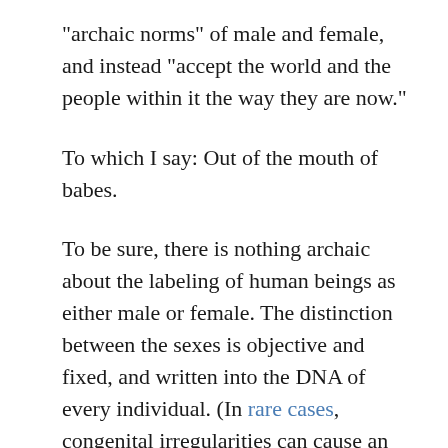"archaic norms" of male and female, and instead "accept the world and the people within it the way they are now."
To which I say: Out of the mouth of babes.
To be sure, there is nothing archaic about the labeling of human beings as either male or female. The distinction between the sexes is objective and fixed, and written into the DNA of every individual. (In rare cases, congenital irregularities can cause an infant to be born with intersex ambiguity.) Nevertheless, Milton's well-intentioned student leaders want to be as accommodating as possible toward students who are to somehow "complying with their